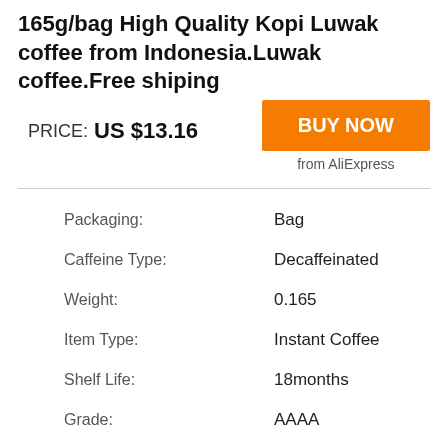165g/bag High Quality Kopi Luwak coffee from Indonesia.Luwak coffee.Free shiping
PRICE: US $13.16
BUY NOW
from AliExpress
| Attribute | Value |
| --- | --- |
| Packaging: | Bag |
| Caffeine Type: | Decaffeinated |
| Weight: | 0.165 |
| Item Type: | Instant Coffee |
| Shelf Life: | 18months |
| Grade: | AAAA |
| Flavor: | Sugar |